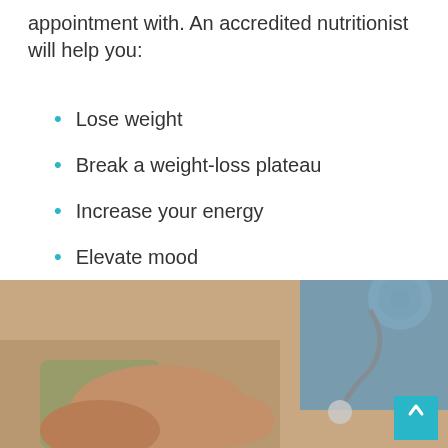appointment with. An accredited nutritionist will help you:
Lose weight
Break a weight-loss plateau
Increase your energy
Elevate mood
Improve sleep
Improve skin, nails and hair
[Figure (photo): Close-up photo of a person's hands holding a stethoscope, another person in a blue shirt visible in background, warm tones]